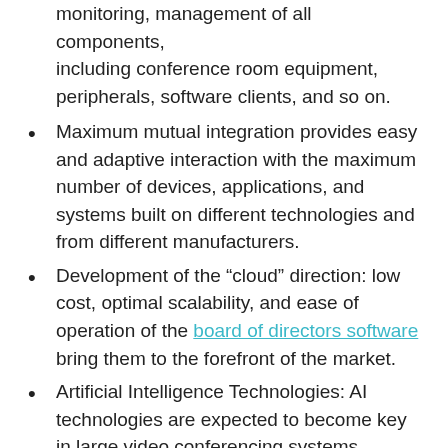monitoring, management of all components, including conference room equipment, peripherals, software clients, and so on.
Maximum mutual integration provides easy and adaptive interaction with the maximum number of devices, applications, and systems built on different technologies and from different manufacturers.
Development of the “cloud” direction: low cost, optimal scalability, and ease of operation of the board of directors software bring them to the forefront of the market.
Artificial Intelligence Technologies: AI technologies are expected to become key in large video conferencing systems focused on the simultaneous exchange of large data sets of